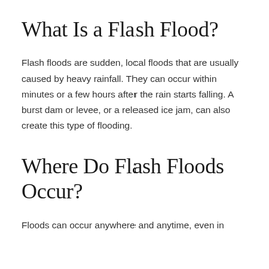What Is a Flash Flood?
Flash floods are sudden, local floods that are usually caused by heavy rainfall. They can occur within minutes or a few hours after the rain starts falling. A burst dam or levee, or a released ice jam, can also create this type of flooding.
Where Do Flash Floods Occur?
Floods can occur anywhere and anytime, even in